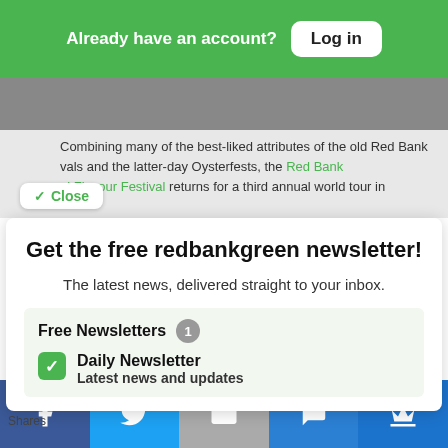Already have an account? Log in
Combining many of the best-liked attributes of the old Red Bank vals and the latter-day Oysterfests, the Red Bank al Flavour Festival returns for a third annual world tour in
Get the free redbankgreen newsletter!
The latest news, delivered straight to your inbox.
Free Newsletters 1
Daily Newsletter
Latest news and updates
Shares